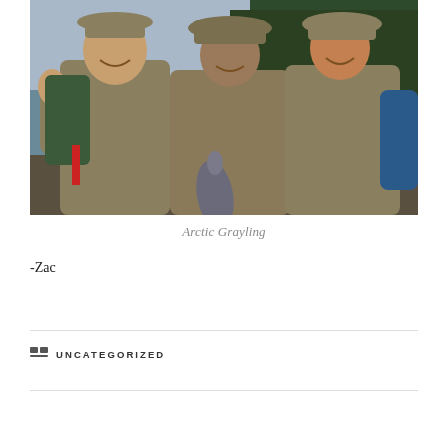[Figure (photo): Three men in outdoor/fishing gear and wide-brimmed hats posing together. The man in the middle holds up a fish (Arctic Grayling). Behind them is a lake and coniferous forest. All are smiling; the man on the left gives a thumbs up.]
Arctic Grayling
-Zac
UNCATEGORIZED